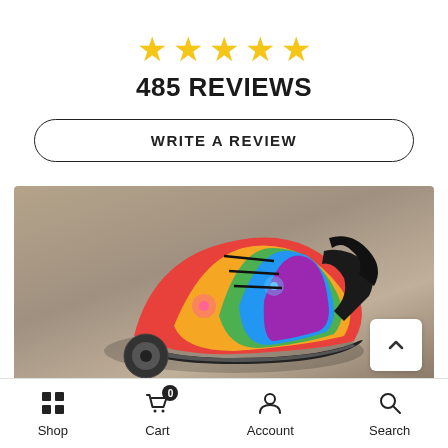[Figure (infographic): Five gold star rating icons displayed in a row]
485 REVIEWS
WRITE A REVIEW
[Figure (photo): Close-up photo of a colorful tie-dye patterned shoe/sneaker on a person's foot, with a scroll-up button overlay]
XS / PINK
Shop  Cart 0  Account  Search